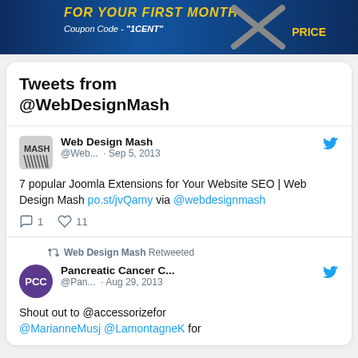[Figure (illustration): Dark blue banner advertisement with yellow text 'FOR YOUR FIRST MONTH' and white italic text 'Coupon Code - "1CENT"' and yellow 'PRICE' text on right side with crossed items graphic]
Tweets from @WebDesignMash
Web Design Mash @Web... · Sep 5, 2013
7 popular Joomla Extensions for Your Website SEO | Web Design Mash po.st/jvQamy via @webdesignmash
1 reply, 11 likes
Web Design Mash Retweeted
Pancreatic Cancer C... @Pan... · Aug 29, 2013
Shout out to @accessorizefor @MarianneMusj @LamontagneK for